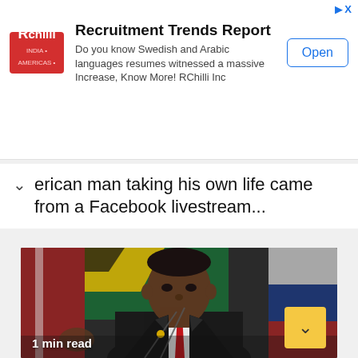[Figure (infographic): RChilli advertisement banner: Recruitment Trends Report. Logo on left, title and description text in center, Open button on right. Description: Do you know Swedish and Arabic languages resumes witnessed a massive Increase, Know More! RChilli Inc]
erican man taking his own life came from a Facebook livestream...
[Figure (photo): Photo of a man in a dark suit with red tie standing at a podium with microphones, with South African flag visible in background. A yellow scroll-up button is in the bottom right corner. '1 min read' label in bottom left.]